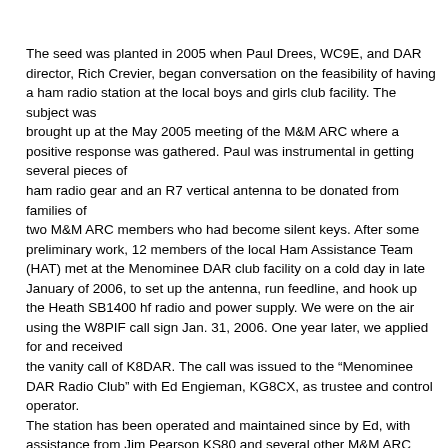The seed was planted in 2005 when Paul Drees, WC9E, and DAR director, Rich Crevier, began conversation on the feasibility of having a ham radio station at the local boys and girls club facility. The subject was brought up at the May 2005 meeting of the M&M ARC where a positive response was gathered. Paul was instrumental in getting several pieces of ham radio gear and an R7 vertical antenna to be donated from families of two M&M ARC members who had become silent keys. After some preliminary work, 12 members of the local Ham Assistance Team (HAT) met at the Menominee DAR club facility on a cold day in late January of 2006, to set up the antenna, run feedline, and hook up the Heath SB1400 hf radio and power supply. We were on the air using the W8PIF call sign Jan. 31, 2006. One year later, we applied for and received the vanity call of K8DAR. The call was issued to the "Menominee DAR Radio Club" with Ed Engieman, KG8CX, as trustee and control operator. The station has been operated and maintained since by Ed, with assistance from Jim Pearson KS80 and several other M&M ARC